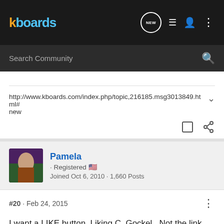kboards
Search Community
http://www.kboards.com/index.php/topic,216185.msg3013849.html#
new
Pamela · Registered 🇺🇸
Joined Oct 6, 2010 · 1,660 Posts
#20 · Feb 24, 2015
I want a LIKE button. Liking C. Gockel.  Not the link.